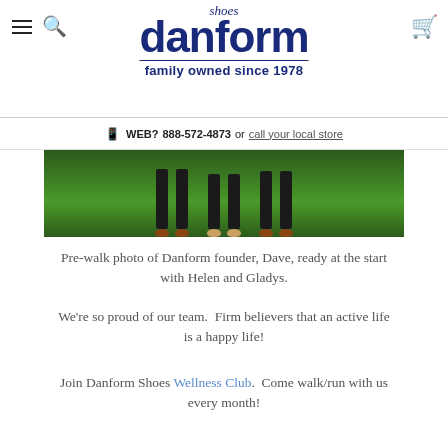danform shoes — family owned since 1978
WEB? 888-572-4873 or call your local store
[Figure (photo): Bottom portion of a photo showing people standing on artificial green grass, legs and shoes visible, with dark pants]
Pre-walk photo of Danform founder, Dave, ready at the start with Helen and Gladys.
We're so proud of our team.  Firm believers that an active life is a happy life!
Join Danform Shoes Wellness Club.  Come walk/run with us every month!